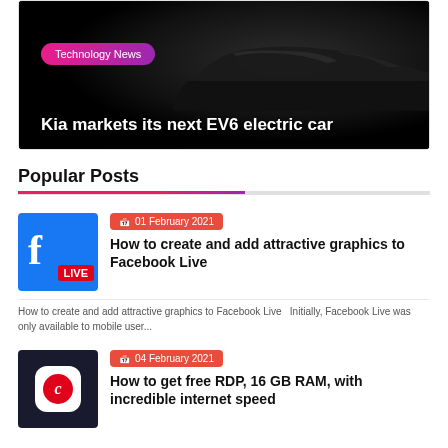[Figure (photo): Dark car silhouette (Kia EV6) on black background with Technology News badge and title overlay]
Popular Posts
[Figure (photo): Facebook Live thumbnail - blue background with white 'f' and red LIVE badge]
01 February 2021
How to create and add attractive graphics to Facebook Live
How to create and add attractive graphics to Facebook Live   Initially, Facebook Live was only available to mobile user...
[Figure (photo): App icon thumbnail - dark background with white rounded square and red circle C logo]
04 February 2021
How to get free RDP, 16 GB RAM, with incredible internet speed